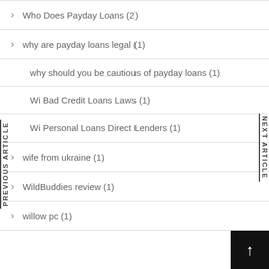> Who Does Payday Loans (2)
> why are payday loans legal (1)
> why should you be cautious of payday loans (1)
Wi Bad Credit Loans Laws (1)
Wi Personal Loans Direct Lenders (1)
> wife from ukraine (1)
> WildBuddies review (1)
> willow pc (1)